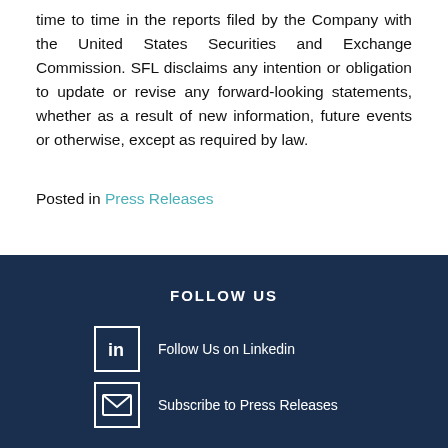time to time in the reports filed by the Company with the United States Securities and Exchange Commission. SFL disclaims any intention or obligation to update or revise any forward-looking statements, whether as a result of new information, future events or otherwise, except as required by law.
Posted in Press Releases
FOLLOW US | Follow Us on Linkedin | Subscribe to Press Releases